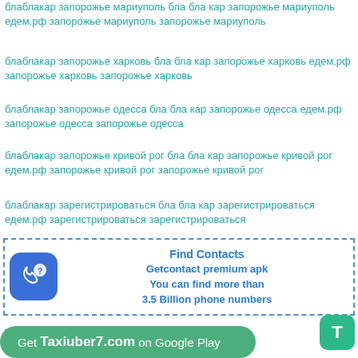блаблакар запорожье мариуполь бла бла кар запорожье мариуполь едем.рф запорожье мариуполь запорожье мариуполь
блаблакар запорожье харковь бла бла кар запорожье харковь едем.рф запорожье харковь запорожье харковь
блаблакар запорожье одесса бла бла кар запорожье одесса едем.рф запорожье одесса запорожье одесса
блаблакар запорожье кривой рог бла бла кар запорожье кривой рог едем.рф запорожье кривой рог запорожье кривой рог
блаблакар зарегистрироваться бла бла кар зарегистрироваться едем.рф зарегистрироваться зарегистрироваться
[Figure (infographic): Ad box with phone icon and text: Find Contacts, Getcontact premium apk, You can find more than 3.5 Billion phone numbers]
Taxiuber7.com
Get Taxiuber7.com on Google Play